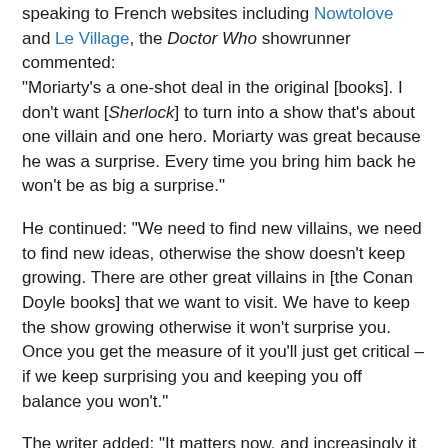speaking to French websites including Nowtolove and Le Village, the Doctor Who showrunner commented: "Moriarty's a one-shot deal in the original [books]. I don't want [Sherlock] to turn into a show that's about one villain and one hero. Moriarty was great because he was a surprise. Every time you bring him back he won't be as big a surprise."
He continued: "We need to find new villains, we need to find new ideas, otherwise the show doesn't keep growing. There are other great villains in [the Conan Doyle books] that we want to visit. We have to keep the show growing otherwise it won't surprise you. Once you get the measure of it you'll just get critical – if we keep surprising you and keeping you off balance you won't."
The writer added: "It matters now, and increasingly it will have to be the case, that we pursue our own line with it; that it becomes its own thing. The audience have to think that they're never safe with us..."